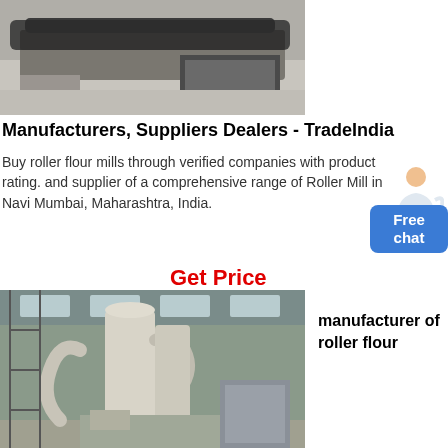[Figure (photo): Industrial machinery with rubber tracks or conveyor belt system, stored in a warehouse or factory setting]
Manufacturers, Suppliers Dealers - TradeIndia
Buy roller flour mills through verified companies with product rating. and supplier of a comprehensive range of Roller Mill in Navi Mumbai, Maharashtra, India.
Get Price
[Figure (photo): Interior of a large industrial factory/warehouse with a roller flour mill machinery installation, featuring large cylindrical silos, pipes, and processing equipment under a metal roof]
manufacturer of roller flour